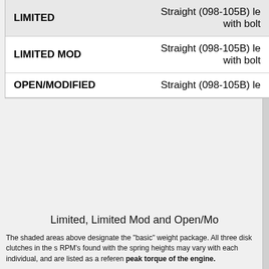| Class | Clutch Type |
| --- | --- |
| LIMITED | Straight (098-105B) le with bolt |
| LIMITED MOD | Straight (098-105B) le with bolt |
| OPEN/MODIFIED | Straight (098-105B) le |
Limited, Limited Mod and Open/Mo
The shaded areas above designate the "basic" weight package. All three disk clutches in the s RPM's found with the spring heights may vary with each individual, and are listed as a referen peak torque of the engine.
Stall speed is the reading shown on the tach as the kart is accelerating from a slow speed bef
As the springs are adjusted clockwise, the tension on the springs is increased and the stall sp the stall speed.
We have found from extensive testing with a computerized accelerometer that the greatest rat However, it also should be pointed out that the addition of the clutch to an engine may change RPM) Also, a given clutch set up will be most efficient with a given amount of torque and enga above settings.
When setting stall speed we suggest making your adjustments in 1/4 turn increments at a time. Next to contamination of the friction disks, heat is the clutch's biggest enemy so be sure to let